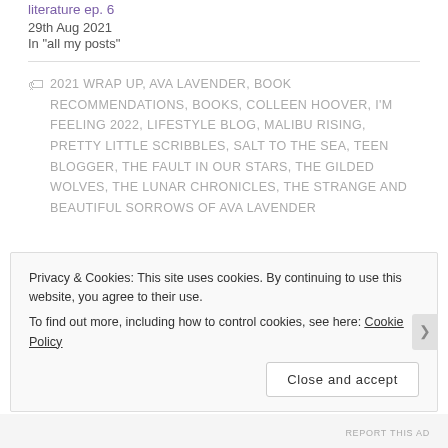literature ep. 6
29th Aug 2021
In "all my posts"
2021 WRAP UP, AVA LAVENDER, BOOK RECOMMENDATIONS, BOOKS, COLLEEN HOOVER, I'M FEELING 2022, LIFESTYLE BLOG, MALIBU RISING, PRETTY LITTLE SCRIBBLES, SALT TO THE SEA, TEEN BLOGGER, THE FAULT IN OUR STARS, THE GILDED WOLVES, THE LUNAR CHRONICLES, THE STRANGE AND BEAUTIFUL SORROWS OF AVA LAVENDER
Privacy & Cookies: This site uses cookies. By continuing to use this website, you agree to their use.
To find out more, including how to control cookies, see here: Cookie Policy
Close and accept
REPORT THIS AD